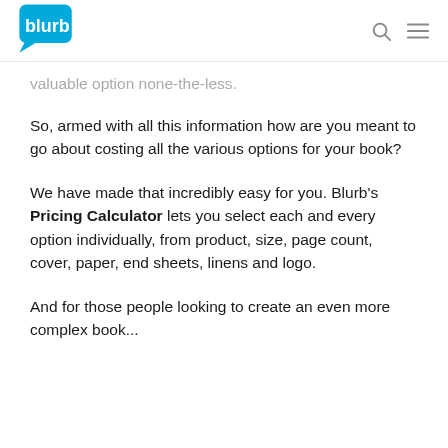blurb [logo]
valuable option none-the-less.
So, armed with all this information how are you meant to go about costing all the various options for your book?
We have made that incredibly easy for you. Blurb’s Pricing Calculator lets you select each and every option individually, from product, size, page count, cover, paper, end sheets, linens and logo.
And for those people looking to create an even more complex book...